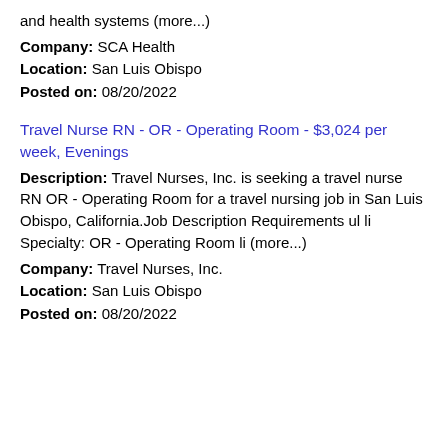and health systems (more...)
Company: SCA Health
Location: San Luis Obispo
Posted on: 08/20/2022
Travel Nurse RN - OR - Operating Room - $3,024 per week, Evenings
Description: Travel Nurses, Inc. is seeking a travel nurse RN OR - Operating Room for a travel nursing job in San Luis Obispo, California.Job Description Requirements ul li Specialty: OR - Operating Room li (more...)
Company: Travel Nurses, Inc.
Location: San Luis Obispo
Posted on: 08/20/2022